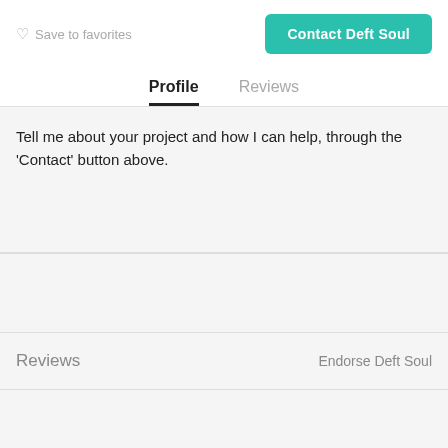Save to favorites
Contact Deft Soul
Profile
Reviews
Tell me about your project and how I can help, through the 'Contact' button above.
Reviews
Endorse Deft Soul